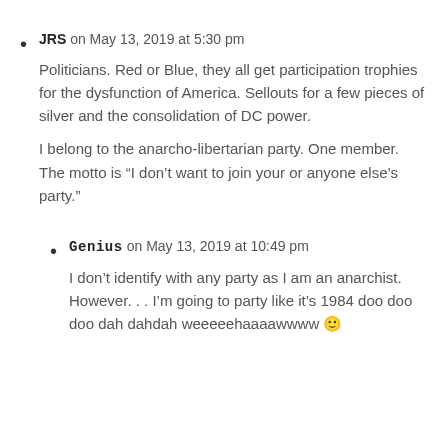JRS on May 13, 2019 at 5:30 pm
Politicians. Red or Blue, they all get participation trophies for the dysfunction of America. Sellouts for a few pieces of silver and the consolidation of DC power.
I belong to the anarcho-libertarian party. One member. The motto is “I don’t want to join your or anyone else’s party.”
Genius on May 13, 2019 at 10:49 pm
I don’t identify with any party as I am an anarchist. However... I’m going to party like it’s 1984 doo doo doo dah dahdah weeeeehaaaawwww 🙂